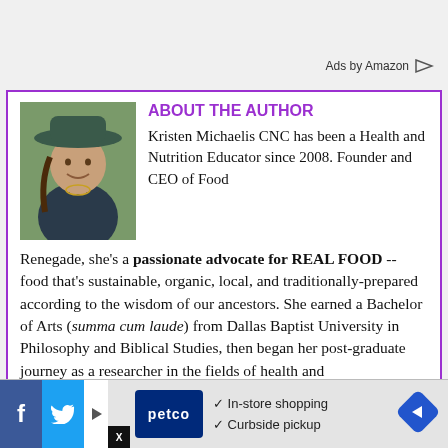Ads by Amazon
[Figure (photo): Photo of Kristen Michaelis wearing a wide-brim hat, smiling, with a braid, outdoors]
ABOUT THE AUTHOR
Kristen Michaelis CNC has been a Health and Nutrition Educator since 2008. Founder and CEO of Food Renegade, she's a passionate advocate for REAL FOOD -- food that's sustainable, organic, local, and traditionally-prepared according to the wisdom of our ancestors. She earned a Bachelor of Arts (summa cum laude) from Dallas Baptist University in Philosophy and Biblical Studies, then began her post-graduate journey as a researcher in the fields of health and
In-store shopping  Curbside pickup  petco